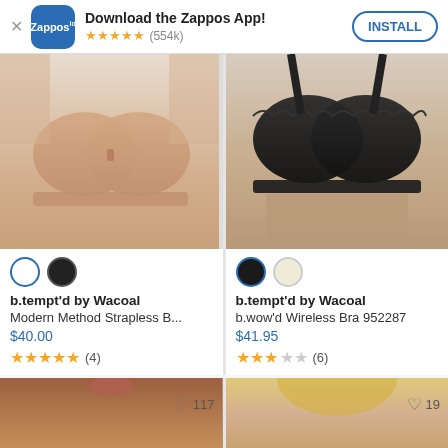[Figure (screenshot): Zappos app install banner with app icon, 5-star rating (554k reviews), and INSTALL button]
[Figure (photo): Product photo: nude/beige strapless bra worn by model (b.tempt'd by Wacoal Modern Method Strapless Bra)]
[Figure (photo): Product photo: black wireless bra with scalloped edge worn by model (b.tempt'd by Wacoal b.wow'd Wireless Bra 952287)]
b.tempt'd by Wacoal
Modern Method Strapless B...
$40.00
★★★★★ (4)
b.tempt'd by Wacoal
b.wow'd Wireless Bra 952287
$41.95
★★★☆☆ (6)
[Figure (photo): Partial product photo bottom left, model with dark skin, heart icon with 117 likes]
[Figure (photo): Partial product photo bottom right, blonde model, heart icon with 19 likes]